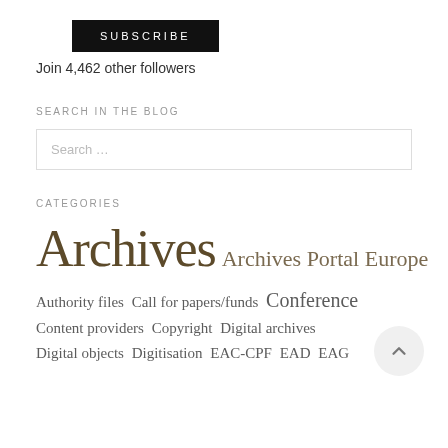SUBSCRIBE
Join 4,462 other followers
SEARCH IN THE BLOG
Search …
CATEGORIES
Archives  Archives Portal Europe  Authority files  Call for papers/funds  Conference  Content providers  Copyright  Digital archives  Digital objects  Digitisation  EAC-CPF  EAD  EAG